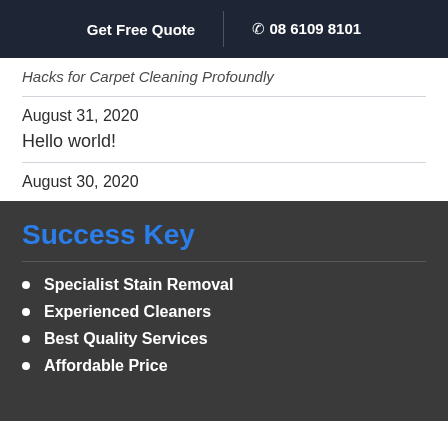Get Free Quote | 08 6109 8101
Hacks for Carpet Cleaning Profoundly
August 31, 2020
Hello world!
August 30, 2020
Success Key
Specialist Stain Removal
Experienced Cleaners
Best Quality Services
Affordable Price